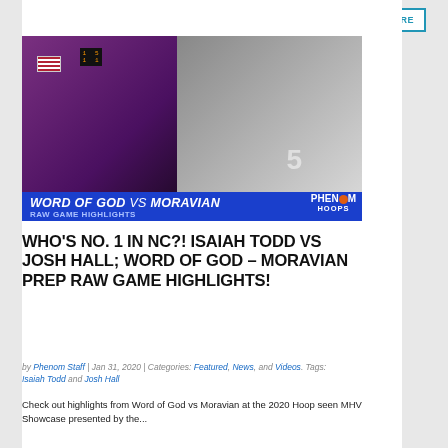[Figure (photo): Basketball video thumbnail showing two players: one in a gold/white jersey on a purple-lit court (left) and one wearing Moravian Prep #5 jersey (right). Overlay text reads 'WORD OF GOD vs MORAVIAN' and 'RAW GAME HIGHLIGHTS' with Phenom Hoops branding.]
WHO'S NO. 1 IN NC?! ISAIAH TODD VS JOSH HALL; WORD OF GOD – MORAVIAN PREP RAW GAME HIGHLIGHTS!
by Phenom Staff | Jan 31, 2020 | Categories: Featured, News, and Videos. Tags: Isaiah Todd and Josh Hall
Check out highlights from Word of God vs Moravian at the 2020 Hoop seen MHV Showcase presented by the...